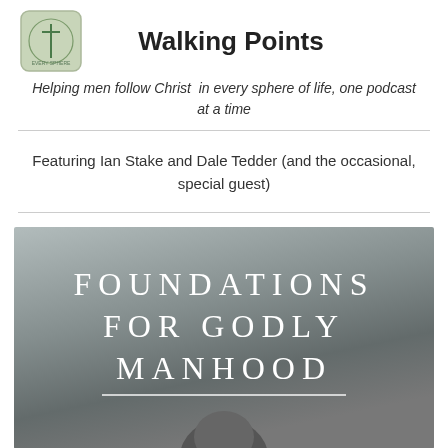Walking Points
Helping men follow Christ in every sphere of life, one podcast at a time
Featuring Ian Stake and Dale Tedder (and the occasional, special guest)
[Figure (illustration): Podcast cover art for 'Foundations for Godly Manhood' — grey gradient background with large white spaced-letter text reading FOUNDATIONS FOR GODLY MANHOOD, a white horizontal underline, and the top of a person's head at the bottom]